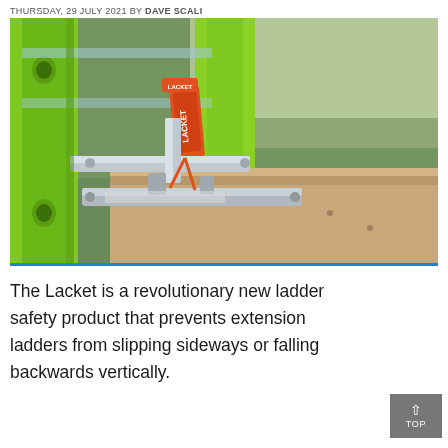THURSDAY, 29 JULY 2021 BY DAVE SCALI
[Figure (photo): Close-up photo of a green extension ladder leaning against a roof edge, with an orange Lacket safety device clamped to the ladder rails, secured with metallic hardware and straps.]
The Lacket is a revolutionary new ladder safety product that prevents extension ladders from slipping sideways or falling backwards vertically.